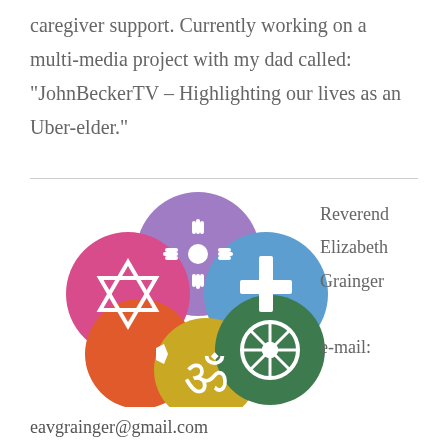caregiver support. Currently working on a multi-media project with my dad called: “JohnBeckerTV – Highlighting our lives as an Uber-elder.”
[Figure (illustration): Circular arrangement of six colored circles each containing a religious symbol: purple circle with Zia sun symbol, blue circle with Christian cross, green circle with Buddhist Dharma wheel, gold/yellow circle with Hindu Om symbol, red circle with Islamic crescent and star, pink/magenta circle with Star of David.]
Reverend Elizabeth Grainger

e-mail:
eavgrainger@gmail.com